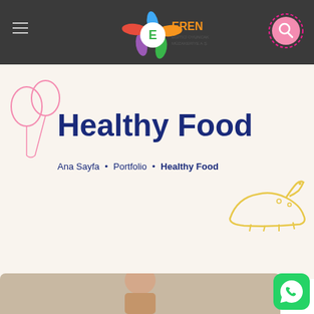[Figure (logo): Eren Eğitici Oyuncak Müzakeriye A.Ş. logo with colorful splash and E letter]
Healthy Food
Ana Sayfa • Portfolio • Healthy Food
[Figure (photo): Child photo at bottom of page]
[Figure (illustration): WhatsApp green button icon at bottom right]